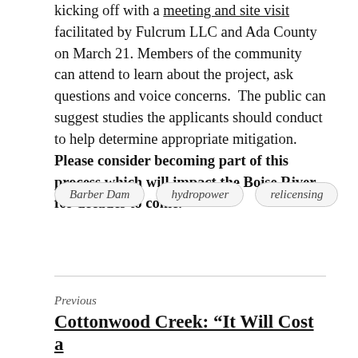kicking off with a meeting and site visit facilitated by Fulcrum LLC and Ada County on March 21. Members of the community can attend to learn about the project, ask questions and voice concerns. The public can suggest studies the applicants should conduct to help determine appropriate mitigation. Please consider becoming part of this process which will impact the Boise River for decades to come.
Barber Dam
hydropower
relicensing
Previous
Cottonwood Creek: “It Will Cost a